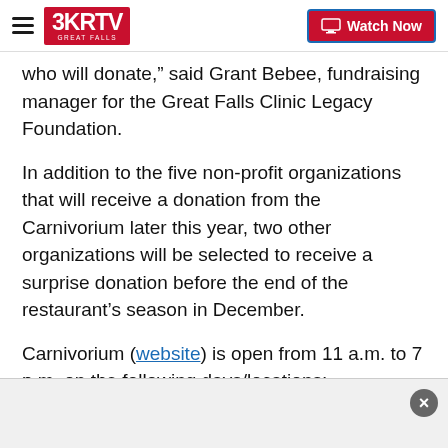3KRTV Great Falls | Watch Now
who will donate,” said Grant Bebee, fundraising manager for the Great Falls Clinic Legacy Foundation.
In addition to the five non-profit organizations that will receive a donation from the Carnivorium later this year, two other organizations will be selected to receive a surprise donation before the end of the restaurant’s season in December.
Carnivorium (website) is open from 11 a.m. to 7 p.m. on the following days/locations:
Tuesdays: Holiday Village Mall (Schools